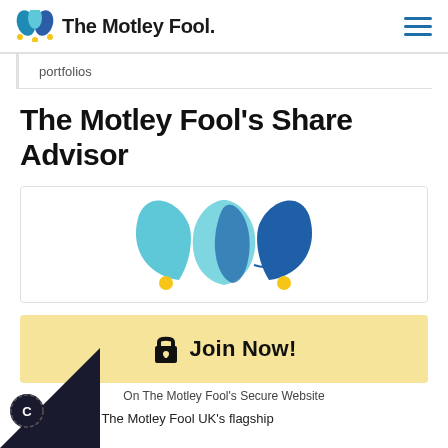The Motley Fool
portfolios
The Motley Fool's Share Advisor
[Figure (logo): The Motley Fool jester hat logo in teal and dark blue with yellow dots]
Join Now!
On The Motley Fool's Secure Website
are Advisor is The Motley Fool UK's flagship